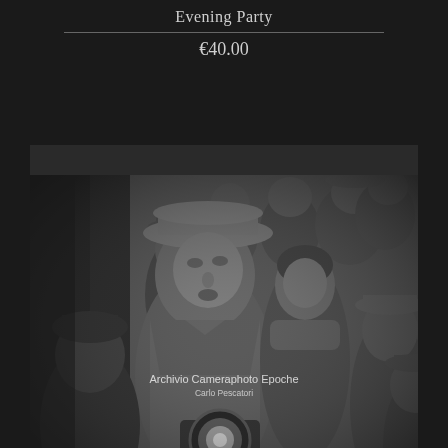Evening Party
€40.00
[Figure (photo): Black and white vintage photograph showing a group of people at an evening event. A man wearing a wide-brimmed hat is prominent in the foreground near a camera flash/microphone. A woman and several other men in hats are visible behind him. Watermark reads 'Archivio Cameraphoto Epoche' with 'Carlo Pescatori' below.]